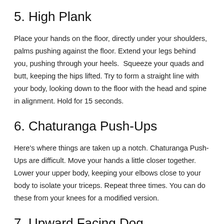5. High Plank
Place your hands on the floor, directly under your shoulders, palms pushing against the floor. Extend your legs behind you, pushing through your heels.  Squeeze your quads and butt, keeping the hips lifted. Try to form a straight line with your body, looking down to the floor with the head and spine in alignment. Hold for 15 seconds.
6. Chaturanga Push-Ups
Here's where things are taken up a notch. Chaturanga Push-Ups are difficult. Move your hands a little closer together. Lower your upper body, keeping your elbows close to your body to isolate your triceps. Repeat three times. You can do these from your knees for a modified version.
7. Upward Facing Dog